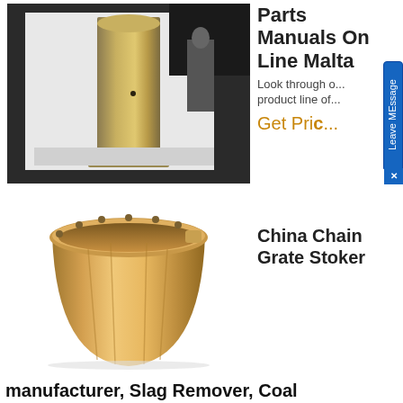[Figure (photo): Bronze or brass cylindrical bushing/shaft component standing upright on a white surface inside a workshop, with a person visible in the background.]
Parts Manuals On Line Malta
Look through our product line of...
Get Price
[Figure (photo): Large bronze/copper bucket-shaped bushing or bearing housing with bolt holes around the top rim, shown on a white background.]
China Chain Grate Stoker
manufacturer, Slag Remover, Coal